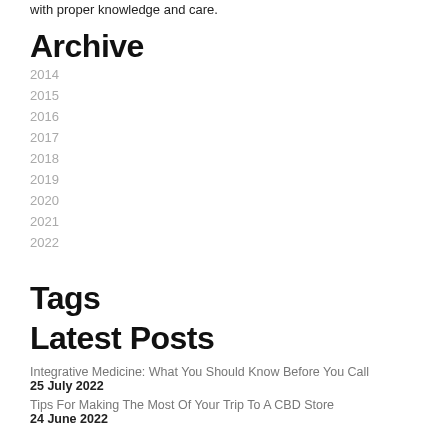with proper knowledge and care.
Archive
2014
2015
2016
2017
2018
2019
2020
2021
2022
Tags
Latest Posts
Integrative Medicine: What You Should Know Before You Call
25 July 2022
Tips For Making The Most Of Your Trip To A CBD Store
24 June 2022